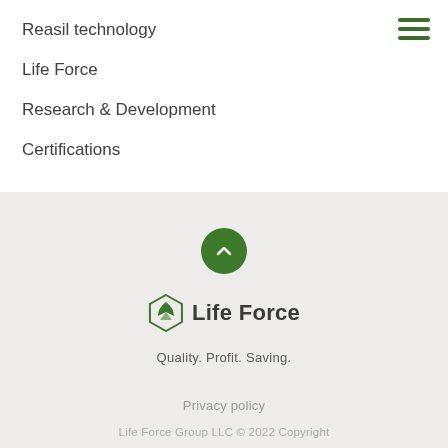Reasil technology
Life Force
Research & Development
Certifications
[Figure (illustration): Green circular button with upward chevron arrow]
[Figure (logo): Life Force logo: green hexagonal leaf icon with text 'Life Force']
Quality. Profit. Saving.
Privacy policy
Life Force Group LLC © 2022 Copyright